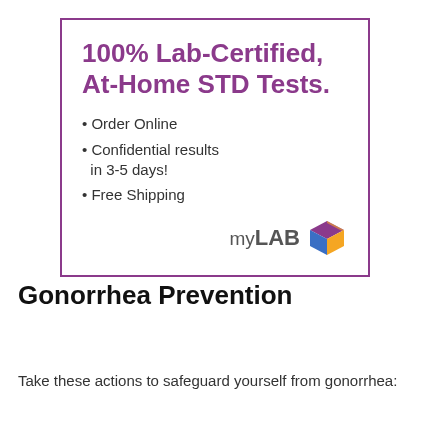[Figure (infographic): myLAB Box ad: 100% Lab-Certified, At-Home STD Tests. Bullet points: Order Online, Confidential results in 3-5 days!, Free Shipping. myLAB Box logo bottom right.]
Gonorrhea Prevention
Take these actions to safeguard yourself from gonorrhea: